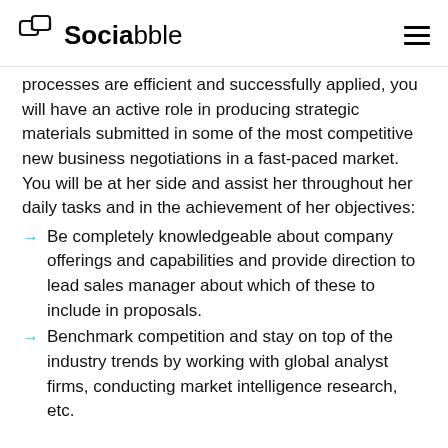Sociabble
processes are efficient and successfully applied, you will have an active role in producing strategic materials submitted in some of the most competitive new business negotiations in a fast-paced market. You will be at her side and assist her throughout her daily tasks and in the achievement of her objectives:
Be completely knowledgeable about company offerings and capabilities and provide direction to lead sales manager about which of these to include in proposals.
Benchmark competition and stay on top of the industry trends by working with global analyst firms, conducting market intelligence research, etc.